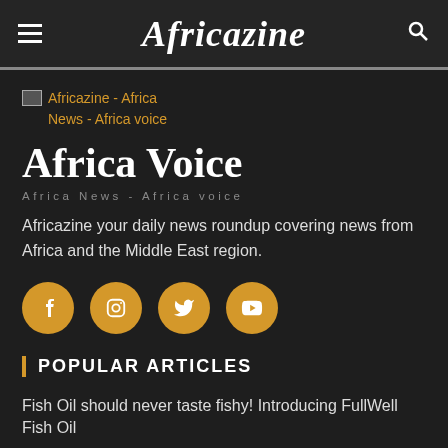Africazine
[Figure (other): Broken image placeholder for Africazine - Africa News - Africa voice logo]
Africa Voice
Africa News - Africa voice
Africazine your daily news roundup covering news from Africa and the Middle East region.
[Figure (other): Social media icons: Facebook, Instagram, Twitter, YouTube in gold circles]
POPULAR ARTICLES
Fish Oil should never taste fishy! Introducing FullWell Fish Oil